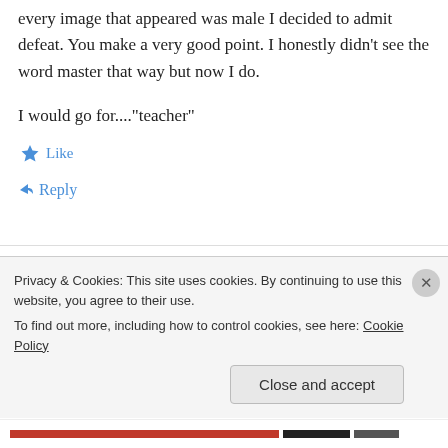At that point, when almost without exception every image that appeared was male I decided to admit defeat. You make a very good point. I honestly didn't see the word master that way but now I do.
I would go for...."teacher"
★ Like
↳ Reply
Diane Leedham (@DiLeed) on July 7, 2014 at 10:33
Privacy & Cookies: This site uses cookies. By continuing to use this website, you agree to their use.
To find out more, including how to control cookies, see here: Cookie Policy